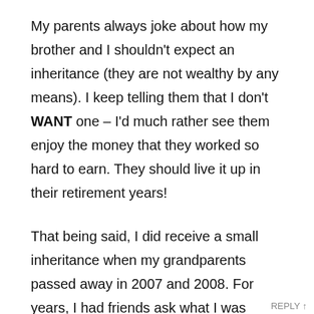My parents always joke about how my brother and I shouldn't expect an inheritance (they are not wealthy by any means). I keep telling them that I don't WANT one – I'd much rather see them enjoy the money that they worked so hard to earn. They should live it up in their retirement years!
That being said, I did receive a small inheritance when my grandparents passed away in 2007 and 2008. For years, I had friends ask what I was going to do with the money but couldn't think of anything that would honor their memory. In 2014 I decided to use it to help pay off my mortgage and I know it's a decision they would have been proud of :)